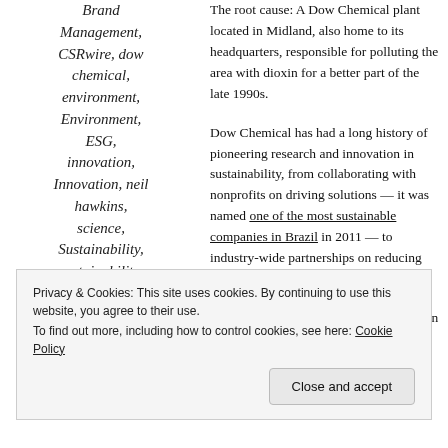Brand Management, CSRwire, dow chemical, environment, Environment, ESG, innovation, Innovation, neil hawkins, science, Sustainability, sustainability, technology
The root cause: A Dow Chemical plant located in Midland, also home to its headquarters, responsible for polluting the area with dioxin for a better part of the late 1990s.
Dow Chemical has had a long history of pioneering research and innovation in sustainability, from collaborating with nonprofits on driving solutions — it was named one of the most sustainable companies in Brazil in 2011 — to industry-wide partnerships on reducing their products' environmental footprint.
But no number of accolades or ratings can hide the
Privacy & Cookies: This site uses cookies. By continuing to use this website, you agree to their use. To find out more, including how to control cookies, see here: Cookie Policy